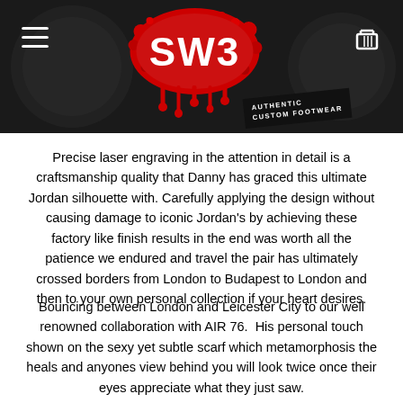SW3 — Authentic Custom Footwear
Precise laser engraving in the attention in detail is a craftsmanship quality that Danny has graced this ultimate Jordan silhouette with. Carefully applying the design without causing damage to iconic Jordan's by achieving these factory like finish results in the end was worth all the patience we endured and travel the pair has ultimately crossed borders from London to Budapest to London and then to your own personal collection if your heart desires.
Bouncing between London and Leicester City to our well renowned collaboration with AIR 76.  His personal touch shown on the sexy yet subtle scarf which metamorphosis the heals and anyones view behind you will look twice once their eyes appreciate what they just saw.